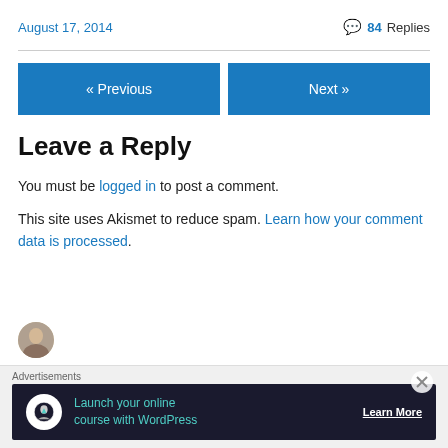August 17, 2014  84 Replies
Leave a Reply
You must be logged in to post a comment.
This site uses Akismet to reduce spam. Learn how your comment data is processed.
[Figure (screenshot): Advertisement banner: Launch your online course with WordPress - Learn More]
Advertisements